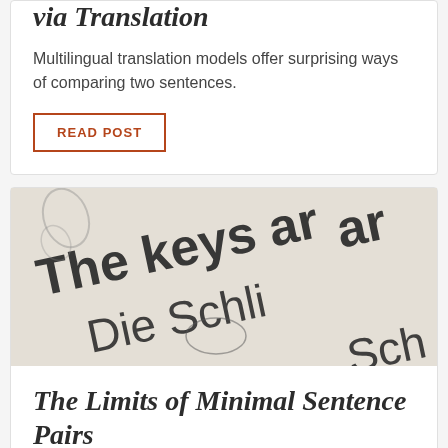via Translation
Multilingual translation models offer surprising ways of comparing two sentences.
READ POST
[Figure (photo): Close-up photo of a page showing bilingual text: 'The keys ar...' in English and 'Die Schli...' in German, on a light beige background]
The Limits of Minimal Sentence Pairs
Forced decisions between sentences are not always predictive of generated language